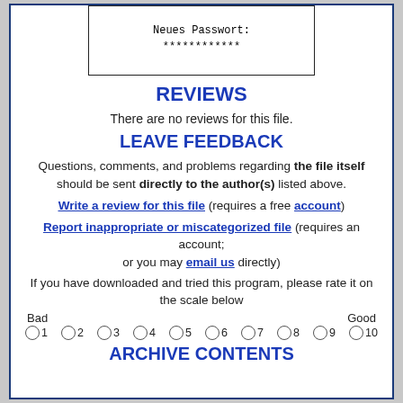[Figure (screenshot): Screenshot showing 'Neues Passwort:' and '************' in monospace font inside a bordered box]
REVIEWS
There are no reviews for this file.
LEAVE FEEDBACK
Questions, comments, and problems regarding the file itself should be sent directly to the author(s) listed above.
Write a review for this file (requires a free account)
Report inappropriate or miscategorized file (requires an account; or you may email us directly)
If you have downloaded and tried this program, please rate it on the scale below
Bad ... Good 1 2 3 4 5 6 7 8 9 10
ARCHIVE CONTENTS